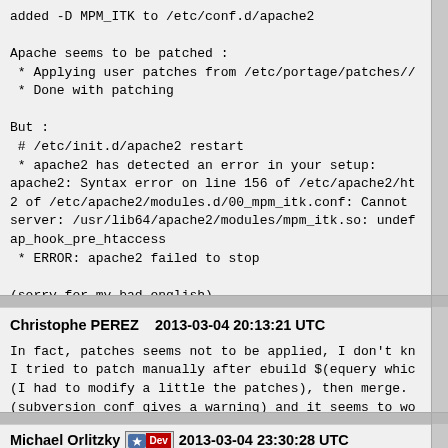added -D MPM_ITK to /etc/conf.d/apache2

Apache seems to be patched :
 * Applying user patches from /etc/portage/patches//
 * Done with patching

But :
 # /etc/init.d/apache2 restart
 * apache2 has detected an error in your setup:
apache2: Syntax error on line 156 of /etc/apache2/ht
2 of /etc/apache2/modules.d/00_mpm_itk.conf: Cannot 
server: /usr/lib64/apache2/modules/mpm_itk.so: undef.
ap_hook_pre_htaccess
 * ERROR: apache2 failed to stop

(sorry for my bad english)
Christophe PEREZ    2013-03-04 20:13:21 UTC

In fact, patches seems not to be applied, I don't kn
I tried to patch manually after ebuild $(equery whic
(I had to modify a little the patches), then merge. 
(subversion conf gives a warning) and it seems to wo
Michael Orlitzky  [Dev]  2013-03-04 23:30:28 UTC

(In reply to comment #16)